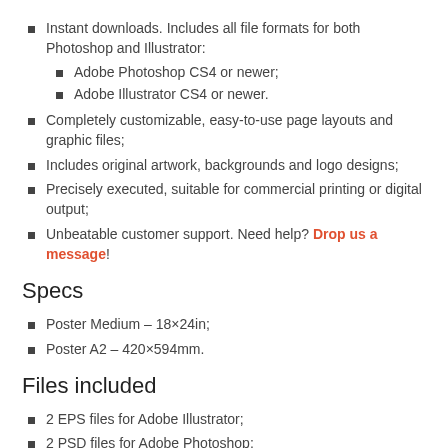Instant downloads. Includes all file formats for both Photoshop and Illustrator: Adobe Photoshop CS4 or newer; Adobe Illustrator CS4 or newer.
Completely customizable, easy-to-use page layouts and graphic files;
Includes original artwork, backgrounds and logo designs;
Precisely executed, suitable for commercial printing or digital output;
Unbeatable customer support. Need help? Drop us a message!
Specs
Poster Medium – 18×24in;
Poster A2 – 420×594mm.
Files included
2 EPS files for Adobe Illustrator;
2 PSD files for Adobe Photoshop;